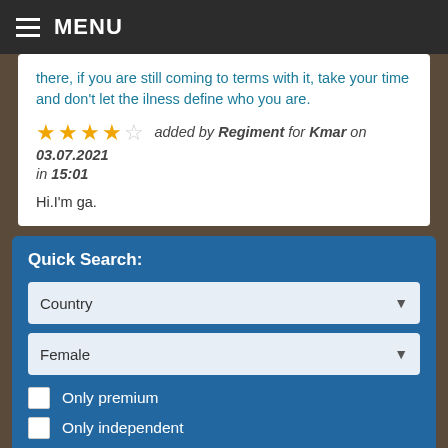MENU
there, if you are still coming to terms with it, take your time and don't let the ilness define who you are.
★★★★☆ added by Regiment for Kmar on 03.07.2021 in 15:01
Hi.I'm ga.
Quick Search:
Country
Female
Only premium
Only independent
Search